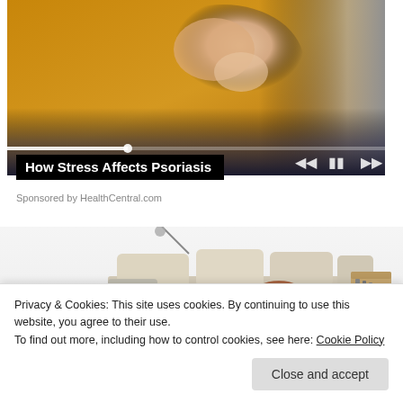[Figure (photo): Video thumbnail showing a person in a yellow sweater sitting on a couch, with media player controls (skip back, pause, skip forward) and a progress bar visible]
How Stress Affects Psoriasis
Sponsored by HealthCentral.com
[Figure (photo): Advertisement image showing a modern luxury sectional sofa/media bed with speakers and accessories]
Privacy & Cookies: This site uses cookies. By continuing to use this website, you agree to their use.
To find out more, including how to control cookies, see here: Cookie Policy